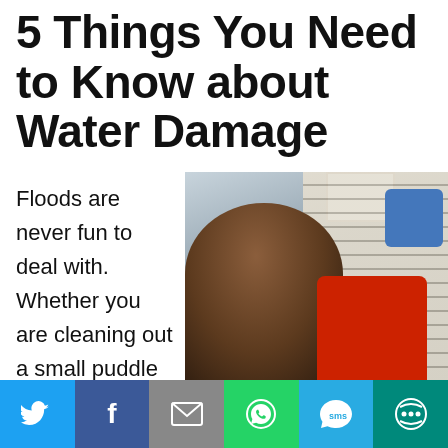5 Things You Need to Know about Water Damage
Floods are never fun to deal with. Whether you are cleaning out a small puddle
[Figure (photo): A man posing with water damage restoration equipment (red air movers and blue dehumidifier) near a staircase]
[Figure (infographic): Social sharing bar with Twitter, Facebook, Email, WhatsApp, SMS, and more buttons]